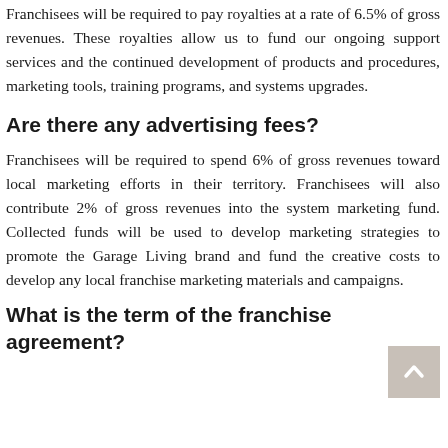Franchisees will be required to pay royalties at a rate of 6.5% of gross revenues. These royalties allow us to fund our ongoing support services and the continued development of products and procedures, marketing tools, training programs, and systems upgrades.
Are there any advertising fees?
Franchisees will be required to spend 6% of gross revenues toward local marketing efforts in their territory. Franchisees will also contribute 2% of gross revenues into the system marketing fund. Collected funds will be used to develop marketing strategies to promote the Garage Living brand and fund the creative costs to develop any local franchise marketing materials and campaigns.
What is the term of the franchise agreement?